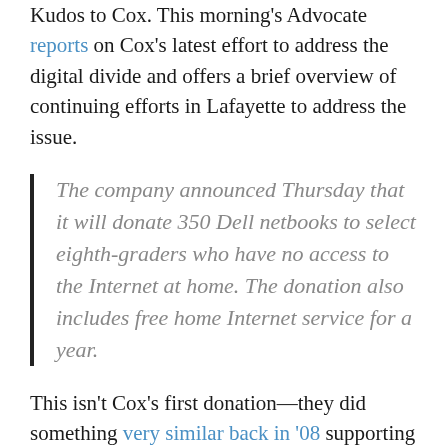Kudos to Cox. This morning's Advocate reports on Cox's latest effort to address the digital divide and offers a brief overview of continuing efforts in Lafayette to address the issue.
The company announced Thursday that it will donate 350 Dell netbooks to select eighth-graders who have no access to the Internet at home. The donation also includes free home Internet service for a year.
This isn't Cox's first donation—they did something very similar back in '08 supporting The Early College Academy. This time through:
[Cox] will donate 350 Dell netbooks to